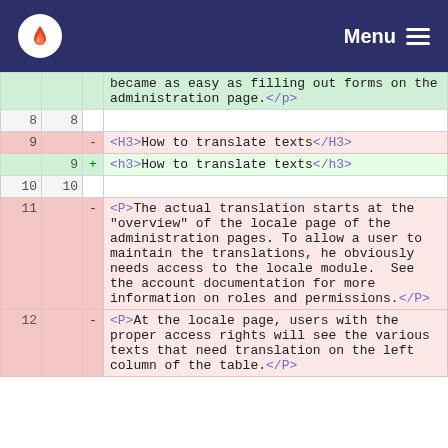Menu
| old | new | sign | code |
| --- | --- | --- | --- |
|  |  |  | became as easy as filling out forms on the administration page.</p> |
| 8 | 8 |  |  |
| 9 |  | - | <H3>How to translate texts</H3> |
|  | 9 | + | <h3>How to translate texts</h3> |
| 10 | 10 |  |  |
| 11 |  | - | <P>The actual translation starts at the "overview" of the locale page of the administration pages. To allow a user to maintain the translations, he obviously needs access to the locale module.  See the account documentation for more information on roles and permissions.</P> |
| 12 |  | - | <P>At the locale page, users with the proper access rights will see the various texts that need translation on the left column of the table.</P> |